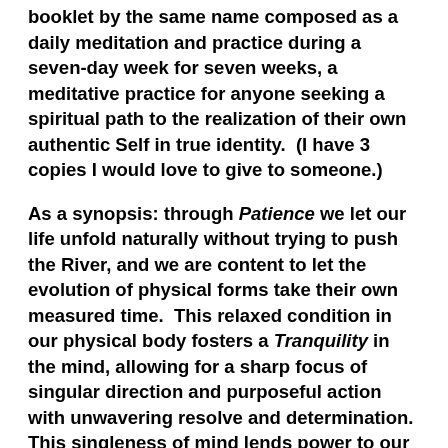booklet by the same name composed as a daily meditation and practice during a seven-day week for seven weeks, a meditative practice for anyone seeking a spiritual path to the realization of their own authentic Self in true identity.  (I have 3 copies I would love to give to someone.)
As a synopsis: through Patience we let our life unfold naturally without trying to push the River, and we are content to let the evolution of physical forms take their own measured time.  This relaxed condition in our physical body fosters a Tranquility in the mind, allowing for a sharp focus of singular direction and purposeful action with unwavering resolve and determination.  This singleness of mind lends power to our outer actions that can easily bring about a